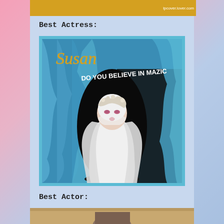[Figure (photo): Top strip showing partial album cover with lpcover.lover.com watermark on yellow/gold background]
Best Actress:
[Figure (illustration): Album cover for 'Susan - Do You Believe In Mazic'. Shows a figure dressed in white bridal/ghost costume with floral headpiece against blue theatrical curtains. Text in cursive reads 'Susan' in gold and 'DO YOU BELIEVE IN MAZIC' in white sans-serif. Blue border frame around the cover.]
Best Actor:
[Figure (photo): Bottom strip showing partial photo of a person, warm/tan tones, partially cut off]